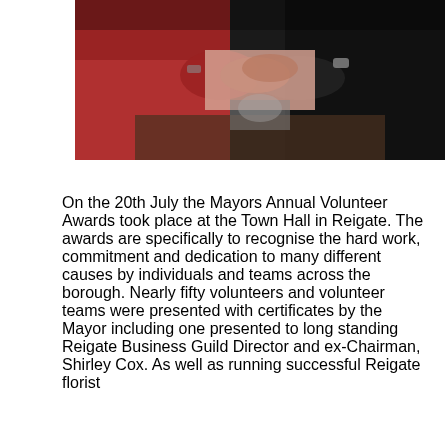[Figure (photo): Two people shaking hands at an event; one wearing red, one in black, partially cropped at top of page]
On the 20th July the Mayors Annual Volunteer Awards took place at the Town Hall in Reigate. The awards are specifically to recognise the hard work, commitment and dedication to many different causes by individuals and teams across the borough. Nearly fifty volunteers and volunteer teams were presented with certificates by the Mayor including one presented to long standing Reigate Business Guild Director and ex-Chairman, Shirley Cox. As well as running successful Reigate florist